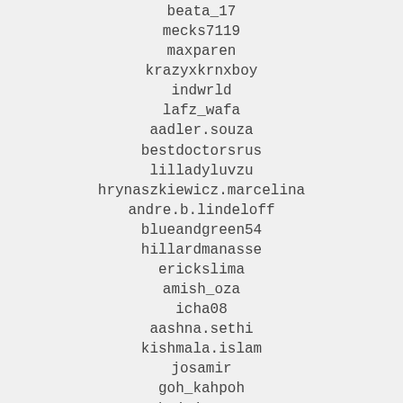beata_17
mecks7119
maxparen
krazyxkrnxboy
indwrld
lafz_wafa
aadler.souza
bestdoctorsrus
lilladyluvzu
hrynaszkiewicz.marcelina
andre.b.lindeloff
blueandgreen54
hillardmanasse
erickslima
amish_oza
icha08
aashna.sethi
kishmala.islam
josamir
goh_kahpoh
bajajeeves
andmerlino
housebnx
jan.p93
martaykasvanchuk